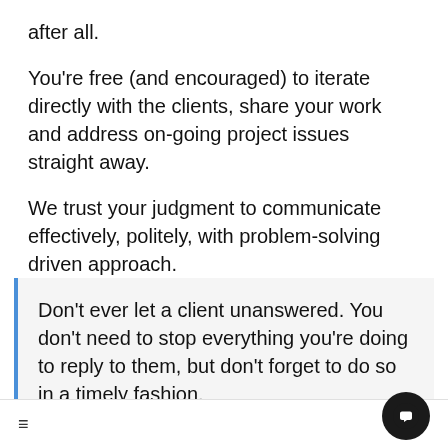after all.
You're free (and encouraged) to iterate directly with the clients, share your work and address on-going project issues straight away.
We trust your judgment to communicate effectively, politely, with problem-solving driven approach.
Don't ever let a client unanswered. You don't need to stop everything you're doing to reply to them, but don't forget to do so in a timely fashion.